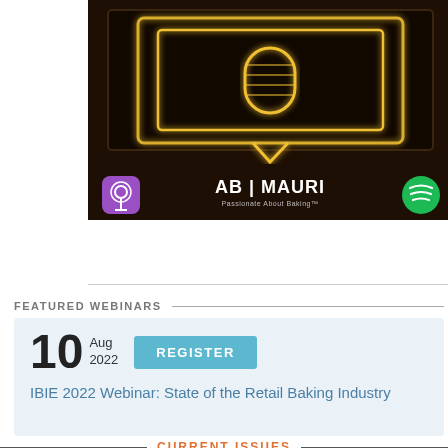[Figure (illustration): AB Mauri podcast image with neon microphone graphic on dark wood background, Apple Podcasts and Spotify icons flanking the AB Mauri logo with 'Passionate About Baking' tagline]
FEATURED WEBINARS
10 Aug 2022 REGISTER
IBIE 2022 Webinar: State of the Retail Baking Industry
CURRENT ISSUES